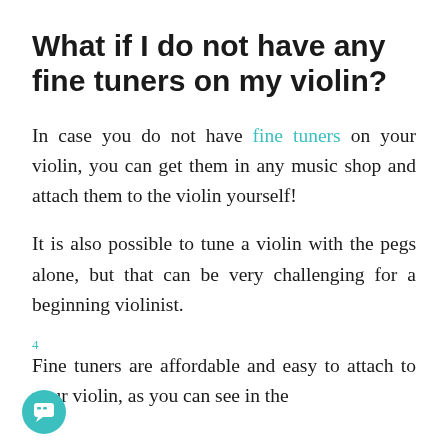What if I do not have any fine tuners on my violin?
In case you do not have fine tuners on your violin, you can get them in any music shop and attach them to the violin yourself!
It is also possible to tune a violin with the pegs alone, but that can be very challenging for a beginning violinist.
4 Fine tuners are affordable and easy to attach to your violin, as you can see in the